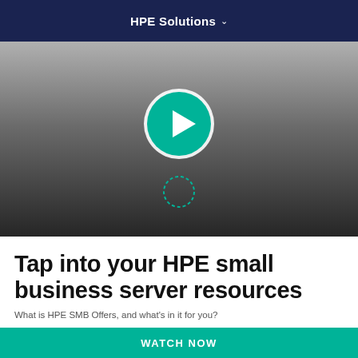HPE Solutions ∨
[Figure (screenshot): Video thumbnail with gray gradient background, a large teal circular play button in the center, and a smaller dashed circle below it]
Tap into your HPE small business server resources
What is HPE SMB Offers, and what's in it for you?
WATCH NOW